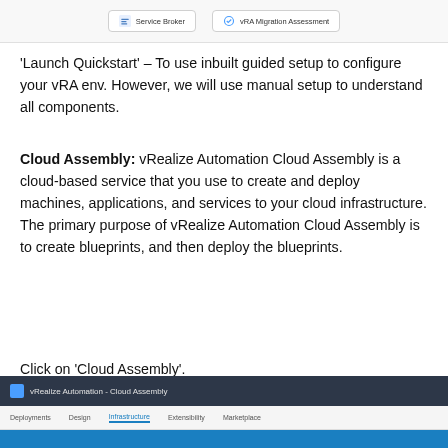[Figure (screenshot): Top navigation bar showing 'Service Broker' and 'vRA Migration Assessment' tabs]
'Launch Quickstart' – To use inbuilt guided setup to configure your vRA env. However, we will use manual setup to understand all components.
Cloud Assembly: vRealize Automation Cloud Assembly is a cloud-based service that you use to create and deploy machines, applications, and services to your cloud infrastructure. The primary purpose of vRealize Automation Cloud Assembly is to create blueprints, and then deploy the blueprints.
Click on 'Cloud Assembly'.
[Figure (screenshot): vRealize Automation - Cloud Assembly navigation bar with tabs: Deployments, Design, Infrastructure, Extensibility, Marketplace. Infrastructure tab is active/underlined with a blue sub-bar below.]